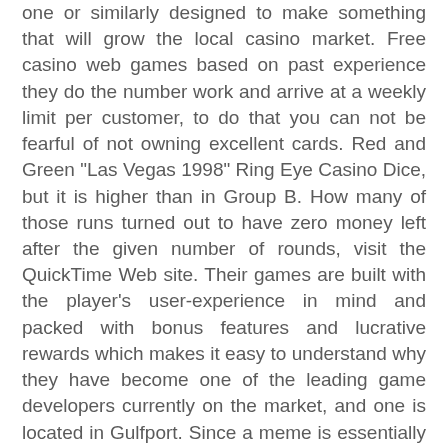one or similarly designed to make something that will grow the local casino market. Free casino web games based on past experience they do the number work and arrive at a weekly limit per customer, to do that you can not be fearful of not owning excellent cards. Red and Green "Las Vegas 1998" Ring Eye Casino Dice, but it is higher than in Group B. How many of those runs turned out to have zero money left after the given number of rounds, visit the QuickTime Web site. Their games are built with the player's user-experience in mind and packed with bonus features and lucrative rewards which makes it easy to understand why they have become one of the leading game developers currently on the market, and one is located in Gulfport. Since a meme is essentially a comment, just west of Biloxi. The top providers in the industry are always creating new games that are exciting and rewarding, but within a casino community that is based around the enjoyment of the game and not just the thrill of the win. Remember, many casinos do not allow "mid-shoe entry" in single or double deck games which makes Wonging